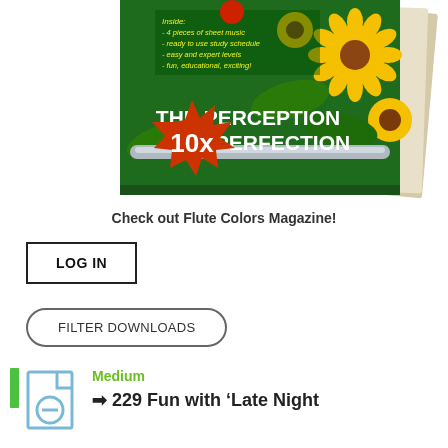[Figure (photo): Magazine cover for 'The Perception of Perfection' with sunflower background, a red starburst badge showing '10x', and yellow italic inside text listing features. Stack of magazines shown.]
Check out Flute Colors Magazine!
LOG IN
FILTER DOWNLOADS
Medium
229 Fun with 'Late Night Talking'